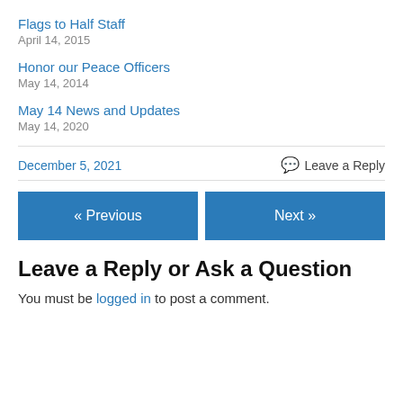Flags to Half Staff
April 14, 2015
Honor our Peace Officers
May 14, 2014
May 14 News and Updates
May 14, 2020
December 5, 2021   Leave a Reply
« Previous   Next »
Leave a Reply or Ask a Question
You must be logged in to post a comment.